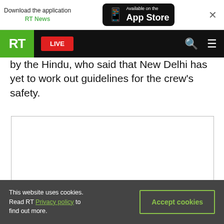Download the application RT News | Available on the App Store
RT LIVE
by the Hindu, who said that New Delhi has yet to work out guidelines for the crew's safety.
[Figure (other): Advertisement placeholder box with border]
This website uses cookies. Read RT Privacy policy to find out more. Accept cookies